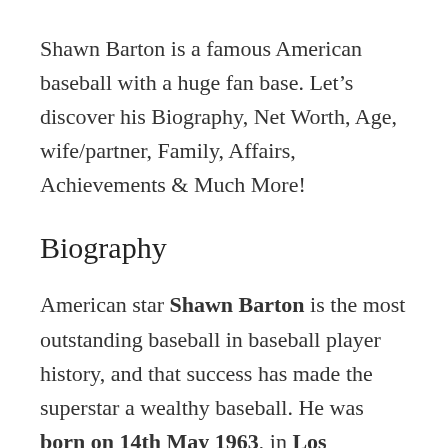Shawn Barton is a famous American baseball with a huge fan base. Let's discover his Biography, Net Worth, Age, wife/partner, Family, Affairs, Achievements & Much More!
Biography
American star Shawn Barton is the most outstanding baseball in baseball player history, and that success has made the superstar a wealthy baseball. He was born on 14th May 1963, in Los Angeles, CA. He is currently 58 years old. He lives at Los Angeles, CA with his family...